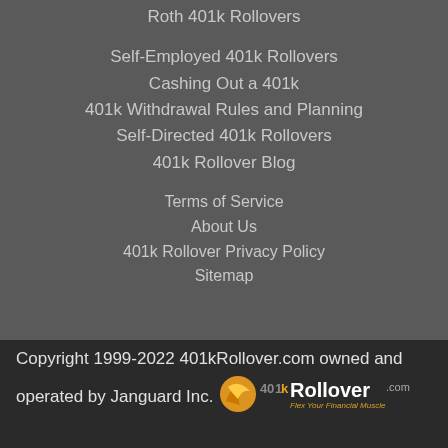Roth 401k Rollovers
Self-Employed 401k Rollovers
Cashing Out a 401k
401k Withdrawal Rules and Planning
Self-Directed 401k Rollovers
401k Rollover Blog
Terms of Service
About Us
401k Rollover Privacy Policy
Sitemap
Copyright 1999-2022 401kRollover.com owned and operated by Janguard Inc. [401kRollover.com logo] Flex Your Financial Muscle